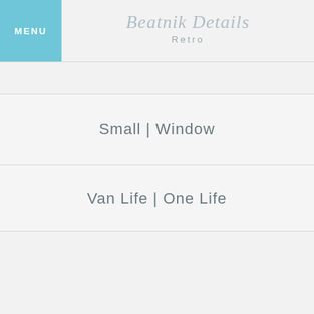MENU | Beatnik Details — Retro
Small | Window
Van Life | One Life
Bonnet | Rear
Sunset | Sunshine
California